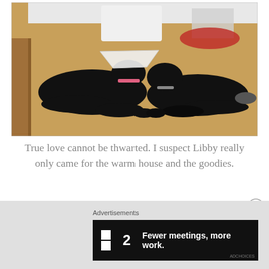[Figure (photo): Two black dogs lying on a hardwood floor. The dog on the left is wearing a white plastic cone (Elizabethan collar) around its neck and a pink collar. The dog on the right is lying nearby with a red patterned cloth/bandana near it. They appear to be touching paws.]
True love cannot be thwarted. I suspect Libby really only came for the warm house and the goodies.
Advertisements
[Figure (other): Advertisement banner with dark background showing a logo with a small square icon followed by the number 2, and the text 'Fewer meetings, more work.' in white bold font.]